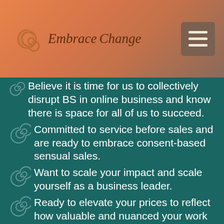[Figure (logo): Embrace Change logo with spiral graphic and italic text]
Believe it is time for us to collectively disrupt BS in online business and know there is space for all of us to succeed.
Committed to service before sales and are ready to embrace consent-based sensual sales.
Want to scale your impact and scale yourself as a business leader.
Ready to elevate your prices to reflect how valuable and nuanced your work is.